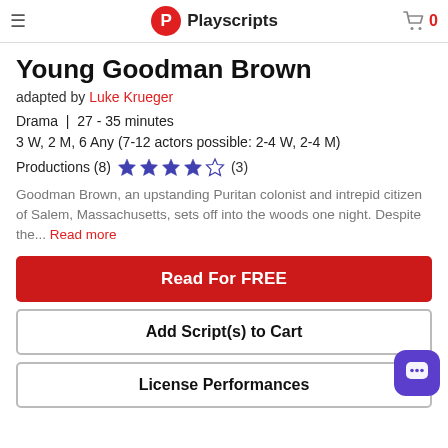Playscripts
Young Goodman Brown
adapted by Luke Krueger
Drama  |  27 - 35 minutes
3 W, 2 M, 6 Any (7-12 actors possible: 2-4 W, 2-4 M)
Productions (8)  ★★★½☆ (3)
Goodman Brown, an upstanding Puritan colonist and intrepid citizen of Salem, Massachusetts, sets off into the woods one night. Despite the... Read more
Read For FREE
Add Script(s) to Cart
License Performances